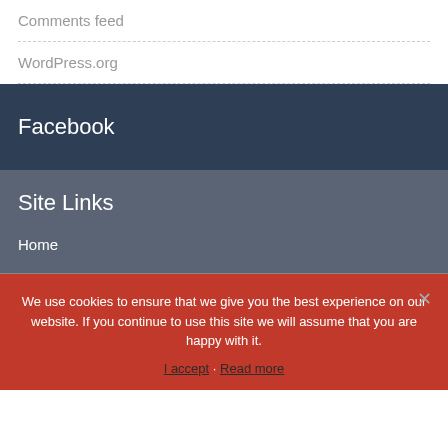Comments feed
WordPress.org
Facebook
Site Links
Home
We use cookies to ensure that we give you the best experience on our website. If you continue to use this site we will assume that you are happy with it.
I accept · Read more